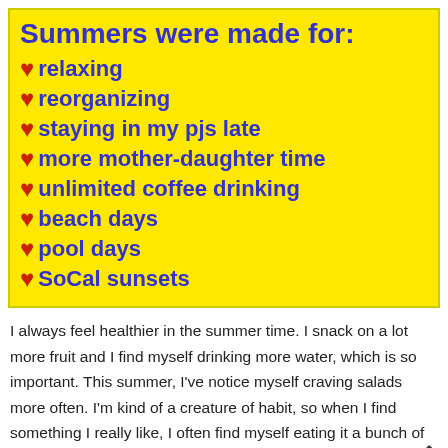Summers were made for:
relaxing
reorganizing
staying in my pjs late
more mother-daughter time
unlimited coffee drinking
beach days
pool days
SoCal sunsets
I always feel healthier in the summer time. I snack on a lot more fruit and I find myself drinking more water, which is so important. This summer, I've notice myself craving salads more often. I'm kind of a creature of habit, so when I find something I really like, I often find myself eating it a bunch of times in a row.